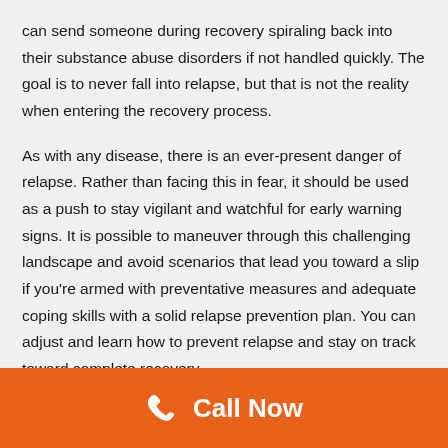can send someone during recovery spiraling back into their substance abuse disorders if not handled quickly. The goal is to never fall into relapse, but that is not the reality when entering the recovery process.
As with any disease, there is an ever-present danger of relapse. Rather than facing this in fear, it should be used as a push to stay vigilant and watchful for early warning signs. It is possible to maneuver through this challenging landscape and avoid scenarios that lead you toward a slip if you're armed with preventative measures and adequate coping skills with a solid relapse prevention plan. You can adjust and learn how to prevent relapse and stay on track toward complete recovery.
Call Now